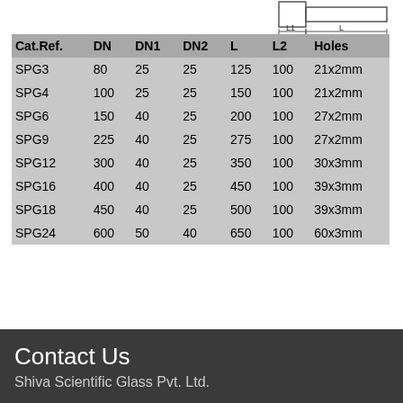[Figure (engineering-diagram): Technical schematic showing a column cross-section with dimension labels L1 and L indicating lengths.]
| Cat.Ref. | DN | DN1 | DN2 | L | L2 | Holes |
| --- | --- | --- | --- | --- | --- | --- |
| SPG3 | 80 | 25 | 25 | 125 | 100 | 21x2mm |
| SPG4 | 100 | 25 | 25 | 150 | 100 | 21x2mm |
| SPG6 | 150 | 40 | 25 | 200 | 100 | 27x2mm |
| SPG9 | 225 | 40 | 25 | 275 | 100 | 27x2mm |
| SPG12 | 300 | 40 | 25 | 350 | 100 | 30x3mm |
| SPG16 | 400 | 40 | 25 | 450 | 100 | 39x3mm |
| SPG18 | 450 | 40 | 25 | 500 | 100 | 39x3mm |
| SPG24 | 600 | 50 | 40 | 650 | 100 | 60x3mm |
DN refers the nominal diameter of the column.
Contact Us
Shiva Scientific Glass Pvt. Ltd.